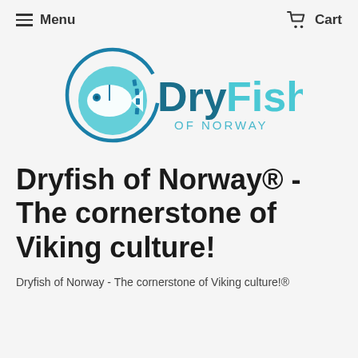Menu  Cart
[Figure (logo): DryFish of Norway logo: circular teal fish icon with 'DryFish' text in dark teal/blue and 'OF NORWAY' below in lighter teal]
Dryfish of Norway® - The cornerstone of Viking culture!
Dryfish of Norway - The cornerstone of Viking culture!®